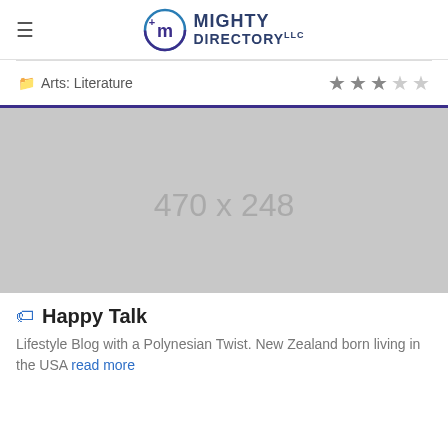Mighty Directory LLC
Arts: Literature — ★★★☆☆
[Figure (other): Placeholder image 470 x 248]
Happy Talk
Lifestyle Blog with a Polynesian Twist. New Zealand born living in the USA read more